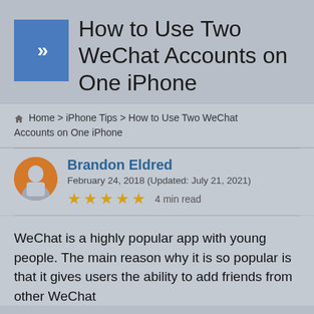How to Use Two WeChat Accounts on One iPhone
Home > iPhone Tips > How to Use Two WeChat Accounts on One iPhone
Brandon Eldred
February 24, 2018 (Updated: July 21, 2021)
★★★★★ 4 min read
WeChat is a highly popular app with young people. The main reason why it is so popular is that it gives users the ability to add friends from other WeChat